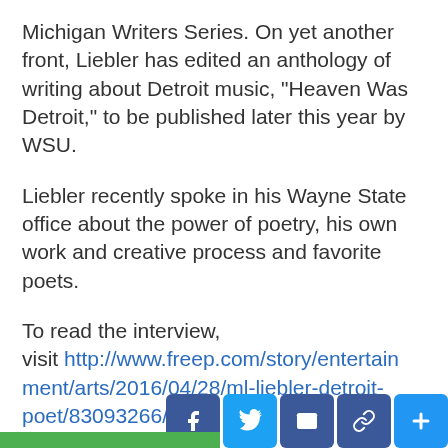Michigan Writers Series. On yet another front, Liebler has edited an anthology of writing about Detroit music, “Heaven Was Detroit,” to be published later this year by WSU.
Liebler recently spoke in his Wayne State office about the power of poetry, his own work and creative process and favorite poets.
To read the interview, visit http://www.freep.com/story/entertainment/arts/2016/04/28/ml-liebler-detroit-poet/83093266/